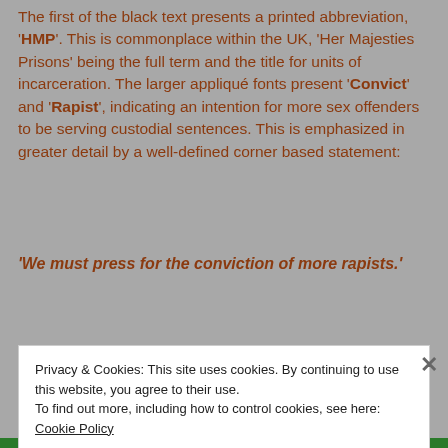The first of the black text presents a printed abbreviation, 'HMP'. This is commonplace within the UK, 'Her Majesties Prisons' being the full term and the title for units of incarceration. The larger appliqué fonts present 'Convict' and 'Rapist', indicating an intention for more sex offenders to be serving custodial sentences. This is emphasized in greater detail by a well-defined corner based statement:
'We must press for the conviction of more rapists.'
Privacy & Cookies: This site uses cookies. By continuing to use this website, you agree to their use. To find out more, including how to control cookies, see here: Cookie Policy